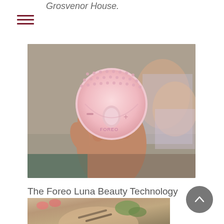Grosvenor House.
[Figure (photo): A woman holding up a pink Foreo Luna facial cleansing device toward the camera, with another woman visible in the background]
The Foreo Luna Beauty Technology
[Figure (photo): Partial view of a food dish being held, visible at the bottom of the page]